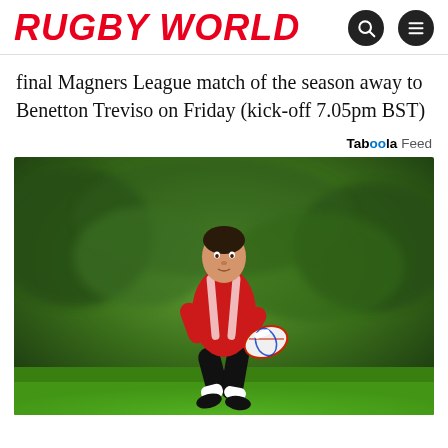RUGBY WORLD
final Magners League match of the season away to Benetton Treviso on Friday (kick-off 7.05pm BST)
Taboola Feed
[Figure (photo): Rugby player in red jersey and black shorts running with ball on green pitch]